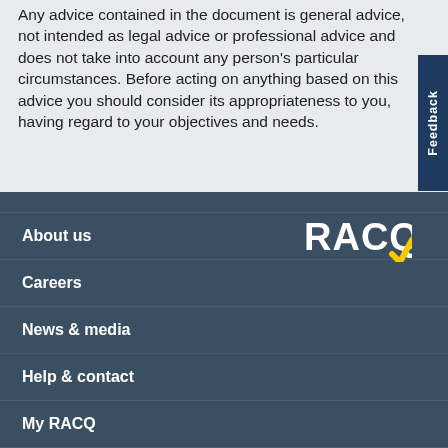Any advice contained in the document is general advice, not intended as legal advice or professional advice and does not take into account any person's particular circumstances. Before acting on anything based on this advice you should consider its appropriateness to you, having regard to your objectives and needs.
About us
Careers
News & media
Help & contact
My RACQ
[Figure (logo): RACQ logo in white text with yellow checkmark on dark blue background]